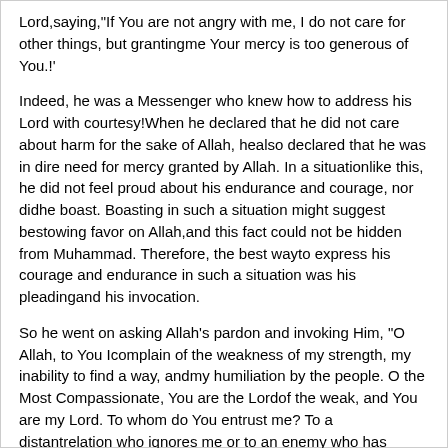Lord,saying,"If You are not angry with me, I do not care for other things, but grantingme Your mercy is too generous of You.!'
Indeed, he was a Messenger who knew how to address his Lord with courtesy!When he declared that he did not care about harm for the sake of Allah, healso declared that he was in dire need for mercy granted by Allah. In a situationlike this, he did not feel proud about his endurance and courage, nor didhe boast. Boasting in such a situation might suggest bestowing favor on Allah,and this fact could not be hidden from Muhammad. Therefore, the best wayto express his courage and endurance in such a situation was his pleadingand his invocation.
So he went on asking Allah's pardon and invoking Him, "O Allah, to You Icomplain of the weakness of my strength, my inability to find a way, andmy humiliation by the people. O the Most Compassionate, You are the Lordof the weak, and You are my Lord. To whom do You entrust me? To a distantrelation who ignores me or to an enemy who has power over me? If You arenot angry with me, I do not care about other things, but granting me Yourmercy is too generous of You. I seek refuge